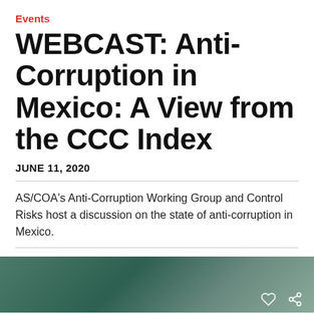Events
WEBCAST: Anti-Corruption in Mexico: A View from the CCC Index
JUNE 11, 2020
AS/COA's Anti-Corruption Working Group and Control Risks host a discussion on the state of anti-corruption in Mexico.
[Figure (infographic): Social sharing buttons: Facebook (blue), Twitter (light blue), Email (grey), Print (teal), Plus/More (red), and a count badge showing 2]
[Figure (photo): Partial view of a dark green/teal background image, likely a photo related to the event, with heart and share icons in the lower right corner]